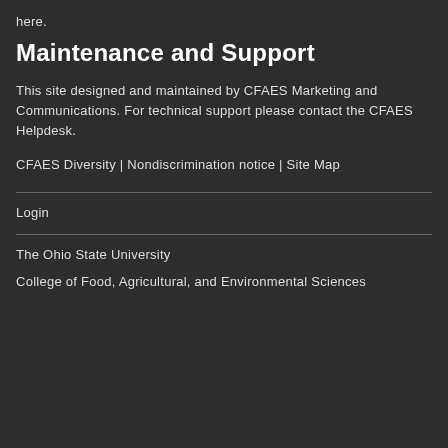here.
Maintenance and Support
This site designed and maintained by CFAES Marketing and Communications. For technical support please contact the CFAES Helpdesk.
CFAES Diversity  |  Nondiscrimination notice  |  Site Map
Login
The Ohio State University
College of Food, Agricultural, and Environmental Sciences